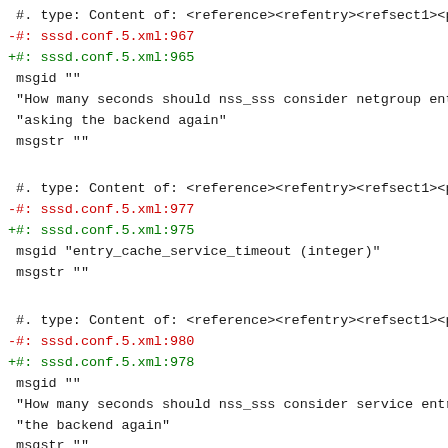#. type: Content of: <reference><refentry><refsect1><para><v
-#: sssd.conf.5.xml:967
+#: sssd.conf.5.xml:965
 msgid ""
 "How many seconds should nss_sss consider netgroup entries v
 "asking the backend again"
 msgstr ""
#. type: Content of: <reference><refentry><refsect1><para><v
-#: sssd.conf.5.xml:977
+#: sssd.conf.5.xml:975
 msgid "entry_cache_service_timeout (integer)"
 msgstr ""
#. type: Content of: <reference><refentry><refsect1><para><v
-#: sssd.conf.5.xml:980
+#: sssd.conf.5.xml:978
 msgid ""
 "How many seconds should nss_sss consider service entries va
 "the backend again"
 msgstr ""
#. type: Content of: <reference><refentry><refsect1><para><v
-#: sssd.conf.5.xml:990
+#: sssd.conf.5.xml:988